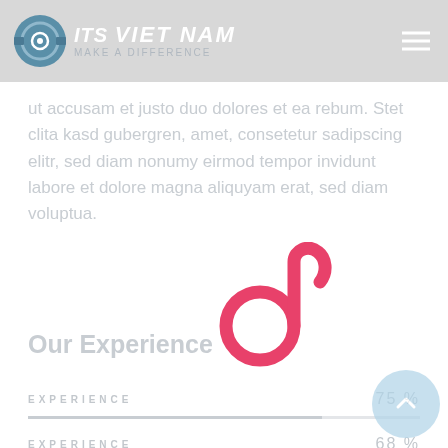ITS VIET NAM — Make a Difference
ut accusam et justo duo dolores et ea rebum. Stet clita kasd gubergren, amet, consetetur sadipscing elitr, sed diam nonumy eirmod tempor invidunt labore et dolore magna aliquyam erat, sed diam voluptua.
[Figure (logo): Pink cursive 'd' letter logo mark — ITS Viet Nam brand icon overlay]
Our Experience
EXPERIENCE 75 %
EXPERIENCE 68 %
EXPERIENCE 87 %